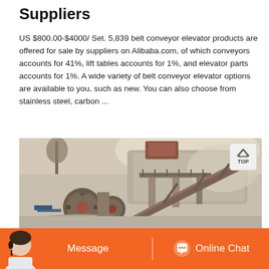Suppliers
US $800.00-$4000/ Set. 5,839 belt conveyor elevator products are offered for sale by suppliers on Alibaba.com, of which conveyors accounts for 41%, lift tables accounts for 1%, and elevator parts accounts for 1%. A wide variety of belt conveyor elevator options are available to you, such as new. You can also choose from stainless steel, carbon ...
[Figure (photo): Industrial belt conveyor elevator machinery at a mining or quarrying site. Large crusher machine with conveyor belt running diagonally, surrounded by grey mineral dust/aggregate piles and a bare tree in the background. A 'TOP' button overlay appears in the upper right.]
Message   Online Chat